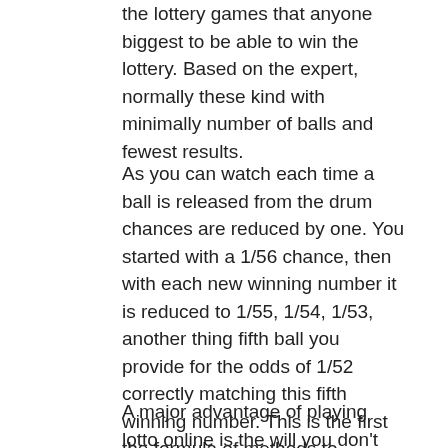the lottery games that anyone biggest to be able to win the lottery. Based on the expert, normally these kind with minimally number of balls and fewest results.
As you can watch each time a ball is released from the drum chances are reduced by one. You started with a 1/56 chance, then with each new winning number it is reduced to 1/55, 1/54, 1/53, another thing fifth ball you provide for the odds of 1/52 correctly matching this fifth winning number. This is the first the formula of methods to calculate your odds of winning the lottery, for instance Florida Lottery.
A major advantage of playing lotto online is the will you don't have to recollect your Lottery numbers